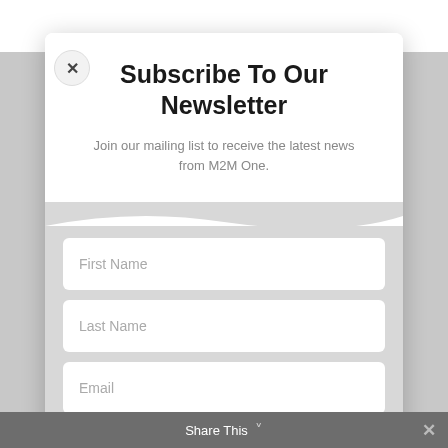er the past few years CeBIT has made an art out of
Subscribe To Our Newsletter
Join our mailing list to receive the latest news from M2M One.
First Name
Last Name
Email
SUBSCRIBE!
Share This